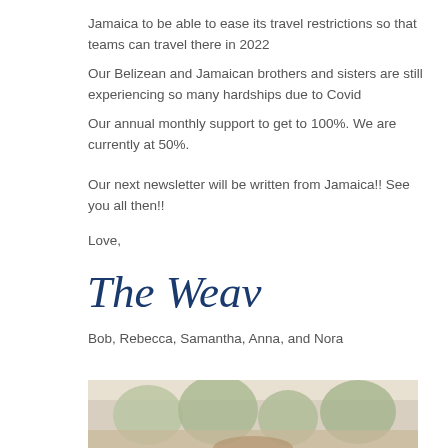Jamaica to be able to ease its travel restrictions so that teams can travel there in 2022
Our Belizean and Jamaican brothers and sisters are still experiencing so many hardships due to Covid
Our annual monthly support to get to 100%. We are currently at 50%.
Our next newsletter will be written from Jamaica!! See you all then!!
Love,
[Figure (illustration): Handwritten cursive script signature reading 'The Weavers' in dark navy/blue ink]
Bob, Rebecca, Samantha, Anna, and Nora
[Figure (photo): Outdoor family photo with trees in background, warm tones, partially cropped at bottom of page]